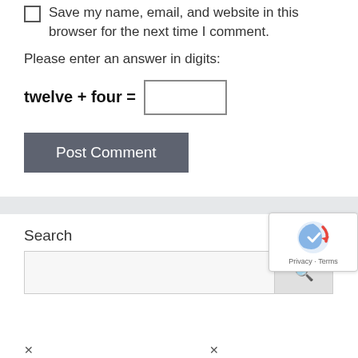Save my name, email, and website in this browser for the next time I comment.
Please enter an answer in digits:
twelve + four =
Post Comment
Search
[Figure (other): reCAPTCHA badge with Privacy and Terms links]